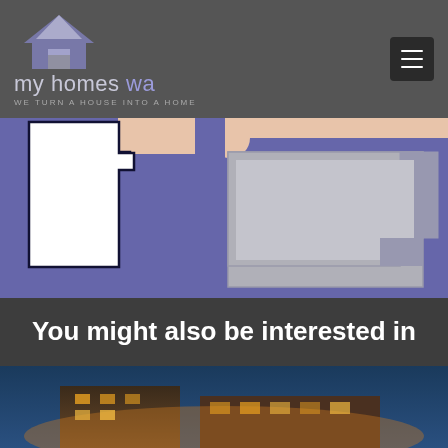[Figure (logo): my homes wa logo with house icon and tagline WE TURN A HOUSE INTO A HOME]
[Figure (engineering-diagram): House floor plan diagram showing two floor plan views side by side on a purple/blue background with white and grey fill areas]
You might also be interested in
[Figure (photo): Partial photo of a building exterior at the bottom of the page]